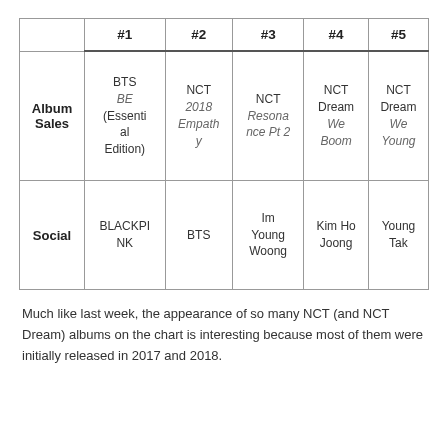|  | #1 | #2 | #3 | #4 | #5 |
| --- | --- | --- | --- | --- | --- |
| Album Sales | BTS BE (Essential Edition) | NCT 2018 Empathy | NCT Resonance Pt 2 | NCT Dream We Boom | NCT Dream We Young |
| Social | BLACKPINK | BTS | Im Young Woong | Kim Ho Joong | Young Tak |
Much like last week, the appearance of so many NCT (and NCT Dream) albums on the chart is interesting because most of them were initially released in 2017 and 2018.